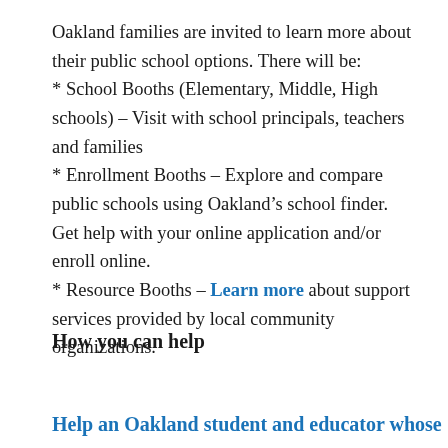Oakland families are invited to learn more about their public school options. There will be:
* School Booths (Elementary, Middle, High schools) – Visit with school principals, teachers and families
* Enrollment Booths – Explore and compare public schools using Oakland's school finder. Get help with your online application and/or enroll online.
* Resource Booths – Learn more about support services provided by local community organizations.
How you can help
Help an Oakland student and educator whose